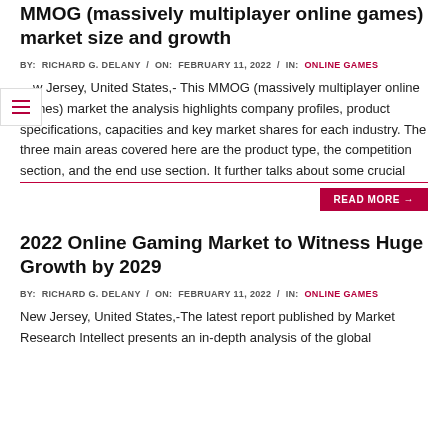MMOG (massively multiplayer online games) market size and growth
BY:  RICHARD G. DELANY  /  ON:  FEBRUARY 11, 2022  /  IN:  ONLINE GAMES
…w Jersey, United States,- This MMOG (massively multiplayer online games) market the analysis highlights company profiles, product specifications, capacities and key market shares for each industry. The three main areas covered here are the product type, the competition section, and the end use section. It further talks about some crucial
READ MORE →
2022 Online Gaming Market to Witness Huge Growth by 2029
BY:  RICHARD G. DELANY  /  ON:  FEBRUARY 11, 2022  /  IN:  ONLINE GAMES
New Jersey, United States,-The latest report published by Market Research Intellect presents an in-depth analysis of the global